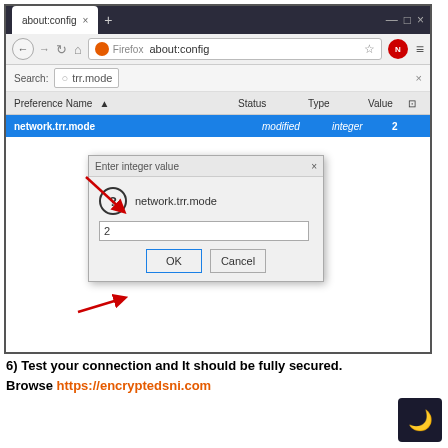[Figure (screenshot): Firefox browser screenshot showing about:config page with network.trr.mode set to modified/integer/2, and a dialog box 'Enter integer value' showing value 2 with OK and Cancel buttons. Red arrows point to the trr.mode search field and the OK button.]
6) Test your connection and It should be fully secured.
Browse https://encryptedsni.com